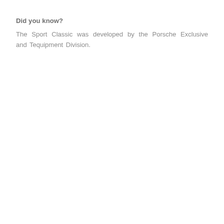Did you know?
The Sport Classic was developed by the Porsche Exclusive and Tequipment Division.